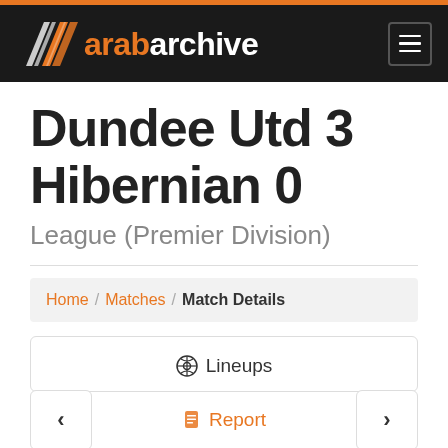[Figure (logo): Arab Archive website header with logo (diagonal stripes icon and text 'arab archive' with 'arab' in orange) and hamburger menu icon on dark background with orange top border]
Dundee Utd 3 Hibernian 0
League (Premier Division)
Home / Matches / Match Details
⚽ Lineups
❮
🗒 Report
❯